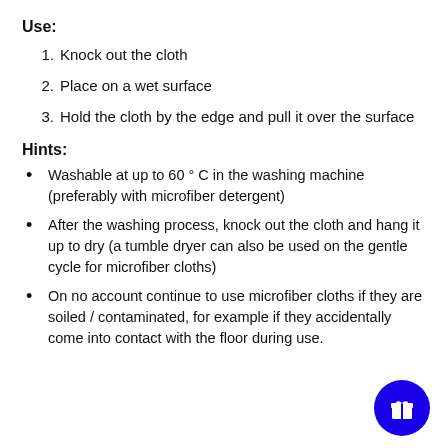Use:
1. Knock out the cloth
2. Place on a wet surface
3. Hold the cloth by the edge and pull it over the surface
Hints:
Washable at up to 60 ° C in the washing machine (preferably with microfiber detergent)
After the washing process, knock out the cloth and hang it up to dry (a tumble dryer can also be used on the gentle cycle for microfiber cloths)
On no account continue to use microfiber cloths if they are soiled / contaminated, for example if they accidentally come into contact with the floor during use.